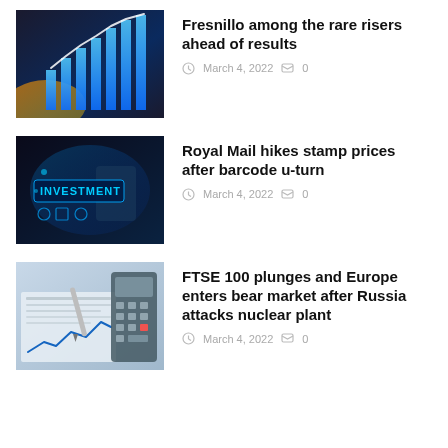[Figure (photo): Financial bar chart graphic with glowing blue bars and upward trend line on dark background with orange glow]
Fresnillo among the rare risers ahead of results
March 4, 2022  0
[Figure (photo): Person touching a digital screen displaying the word INVESTMENT in blue neon text, with financial icons on dark background]
Royal Mail hikes stamp prices after barcode u-turn
March 4, 2022  0
[Figure (photo): Calculator and pen on financial documents with a line chart visible, blue tones]
FTSE 100 plunges and Europe enters bear market after Russia attacks nuclear plant
March 4, 2022  0